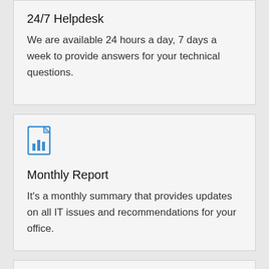24/7 Helpdesk
We are available 24 hours a day, 7 days a week to provide answers for your technical questions.
[Figure (illustration): Blue document/report icon with bar chart]
Monthly Report
It's a monthly summary that provides updates on all IT issues and recommendations for your office.
[Figure (illustration): Blue circular icon partially visible at bottom]